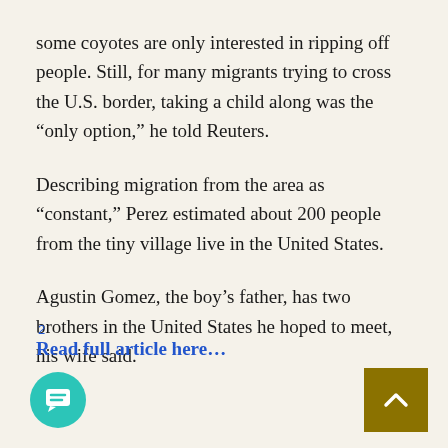some coyotes are only interested in ripping off people. Still, for many migrants trying to cross the U.S. border, taking a child along was the “only option,” he told Reuters.
Describing migration from the area as “constant,” Perez estimated about 200 people from the tiny village live in the United States.
Agustin Gomez, the boy’s father, has two brothers in the United States he hoped to meet, his wife said.
Read full article here…